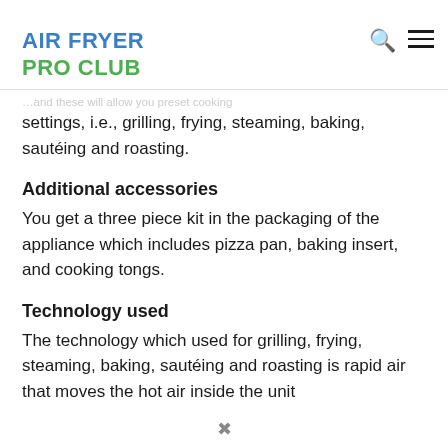AIR FRYER PRO CLUB
settings, i.e., grilling, frying, steaming, baking, sautéing and roasting.
Additional accessories
You get a three piece kit in the packaging of the appliance which includes pizza pan, baking insert, and cooking tongs.
Technology used
The technology which used for grilling, frying, steaming, baking, sautéing and roasting is rapid air that moves the hot air inside the unit